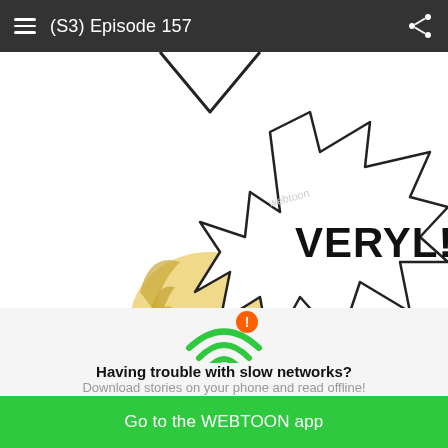(S3) Episode 157
[Figure (illustration): Webtoon comic panel showing a character with light-colored hair and a speech bubble with the text 'VERYL!' and partial text below it.]
[Figure (infographic): WiFi icon with an exclamation mark/warning badge in green, indicating slow network connectivity.]
Having trouble with slow networks?
Download stories on your phone and read offline!
Go to the WEBTOON app